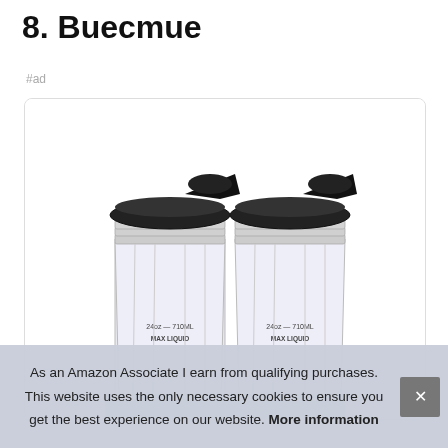8. Buecmue
#ad
[Figure (photo): Two clear plastic blender cups with black lids/spouts, each labeled 24oz — 710ML MAX LIQUID, shown side by side on a white background inside a rounded-corner card.]
As an Amazon Associate I earn from qualifying purchases. This website uses the only necessary cookies to ensure you get the best experience on our website. More information